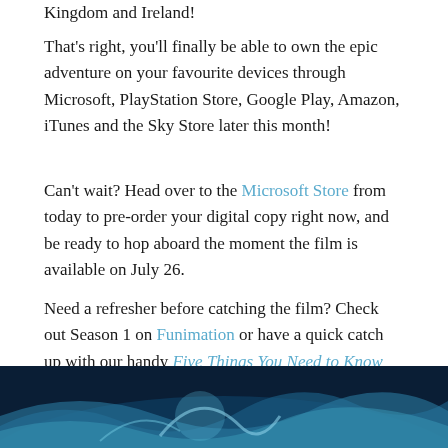Kingdom and Ireland!
That's right, you'll finally be able to own the epic adventure on your favourite devices through Microsoft, PlayStation Store, Google Play, Amazon, iTunes and the Sky Store later this month!
Can't wait? Head over to the Microsoft Store from today to pre-order your digital copy right now, and be ready to hop aboard the moment the film is available on July 26.
Need a refresher before catching the film? Check out Season 1 on Funimation or have a quick catch up with our handy Five Things You Need to Know feature, which will prepare you perfectly for July 26!
[Figure (photo): Bottom portion of image showing blue wave/water and a character, appears to be from an animated film, dark blue background]